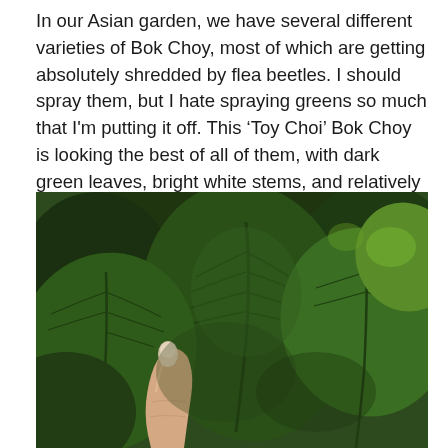In our Asian garden, we have several different varieties of Bok Choy, most of which are getting absolutely shredded by flea beetles. I should spray them, but I hate spraying greens so much that I'm putting it off. This ‘Toy Choi’ Bok Choy is looking the best of all of them, with dark green leaves, bright white stems, and relatively undamaged leaves. It is a mini bok choy that should be mature at about 4″ tall. It’s getting pretty close!
[Figure (photo): Close-up photograph of large dark green bok choy leaves in a garden. A human hand/thumb is visible in the lower left pointing up toward the leaves, providing scale. The leaves are lush, dark green, and fill the frame.]